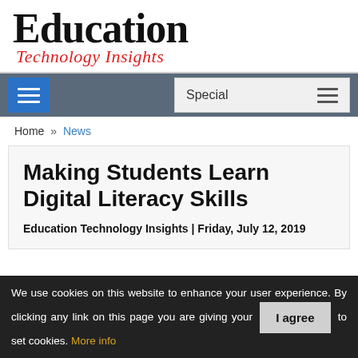[Figure (logo): Education Technology Insights logo with serif bold 'Education' in black and italic 'Technology Insights' in red]
Special
Home » News
Making Students Learn Digital Literacy Skills
Education Technology Insights | Friday, July 12, 2019
We use cookies on this website to enhance your user experience. By clicking any link on this page you are giving your consent to set cookies. More info